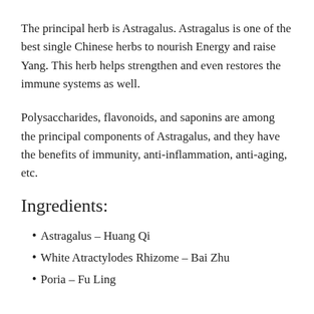The principal herb is Astragalus. Astragalus is one of the best single Chinese herbs to nourish Energy and raise Yang. This herb helps strengthen and even restores the immune systems as well.
Polysaccharides, flavonoids, and saponins are among the principal components of Astragalus, and they have the benefits of immunity, anti-inflammation, anti-aging, etc.
Ingredients:
Astragalus – Huang Qi
White Atractylodes Rhizome – Bai Zhu
Poria – Fu Ling